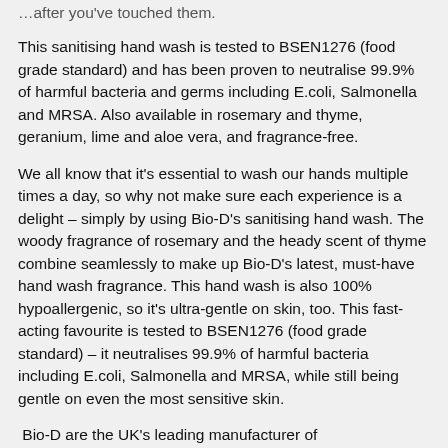…after you've touched them.
This sanitising hand wash is tested to BSEN1276 (food grade standard) and has been proven to neutralise 99.9% of harmful bacteria and germs including E.coli, Salmonella and MRSA. Also available in rosemary and thyme, geranium, lime and aloe vera, and fragrance-free.
We all know that it's essential to wash our hands multiple times a day, so why not make sure each experience is a delight – simply by using Bio-D's sanitising hand wash. The woody fragrance of rosemary and the heady scent of thyme combine seamlessly to make up Bio-D's latest, must-have hand wash fragrance. This hand wash is also 100% hypoallergenic, so it's ultra-gentle on skin, too. This fast-acting favourite is tested to BSEN1276 (food grade standard) – it neutralises 99.9% of harmful bacteria including E.coli, Salmonella and MRSA, while still being gentle on even the most sensitive skin.
Bio-D are the UK's leading manufacturer of environmentally responsible, ethically sound, hypoallergenic, vegan cleaning products. Independently owned, they create products that don't cost the earth, in any sense. Using naturally derived and plant-based ingredients, Bio-D leave out any ingredients that could be harmful to both wildlife, humans and the planet. They also have